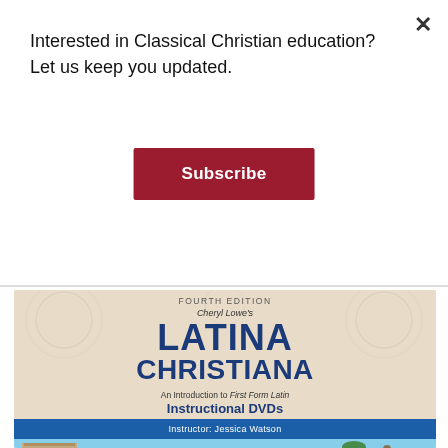Interested in Classical Christian education?Let us keep you updated.
[Figure (illustration): Red Subscribe button on white modal overlay]
[Figure (photo): Book cover for Latina Christiana Fourth Edition by Cheryl Lowe - Instructional DVDs, Instructor: Jessica Watson. Dark blue title text on beige/tan background with a blue banner at bottom. Shows partial scene with Roman architecture and foliage.]